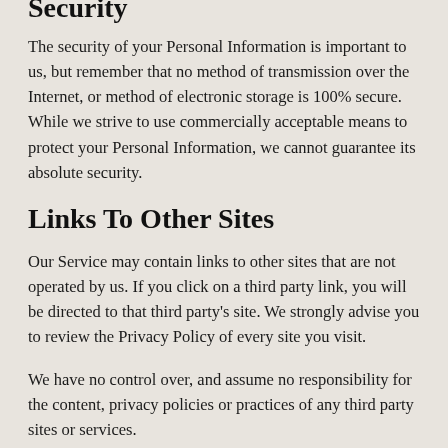Security
The security of your Personal Information is important to us, but remember that no method of transmission over the Internet, or method of electronic storage is 100% secure. While we strive to use commercially acceptable means to protect your Personal Information, we cannot guarantee its absolute security.
Links To Other Sites
Our Service may contain links to other sites that are not operated by us. If you click on a third party link, you will be directed to that third party's site. We strongly advise you to review the Privacy Policy of every site you visit.
We have no control over, and assume no responsibility for the content, privacy policies or practices of any third party sites or services.
Children's Privacy